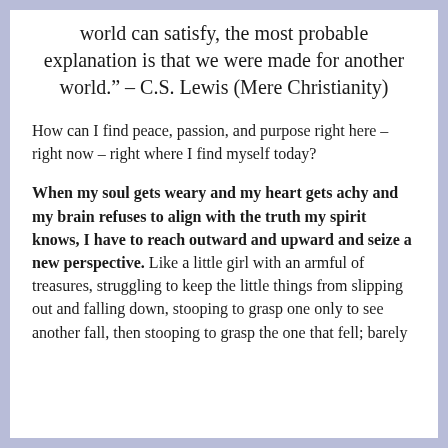world can satisfy, the most probable explanation is that we were made for another world." – C.S. Lewis (Mere Christianity)
How can I find peace, passion, and purpose right here – right now – right where I find myself today?
When my soul gets weary and my heart gets achy and my brain refuses to align with the truth my spirit knows, I have to reach outward and upward and seize a new perspective. Like a little girl with an armful of treasures, struggling to keep the little things from slipping out and falling down, stooping to grasp one only to see another fall, then stooping to grasp the one that fell; barely